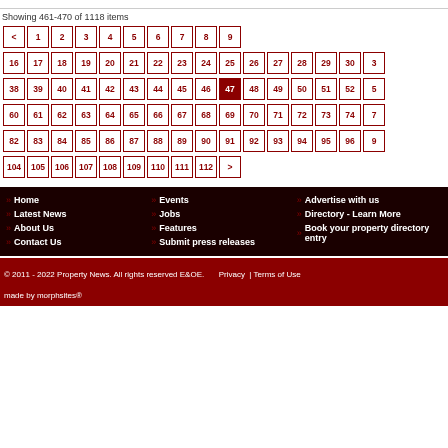Showing 461-470 of 1118 items
Pagination navigation: < 1 2 3 4 5 6 7 8 9 ... 16 17 18 19 20 21 22 23 24 25 26 27 28 29 30 31 ... 38 39 40 41 42 43 44 45 46 47(active) 48 49 50 51 52 53 ... 60 61 62 63 64 65 66 67 68 69 70 71 72 73 74 75 ... 82 83 84 85 86 87 88 89 90 91 92 93 94 95 96 97 ... 104 105 106 107 108 109 110 111 112 >
Home
Latest News
About Us
Contact Us
Events
Jobs
Features
Submit press releases
Advertise with us
Directory - Learn More
Book your property directory entry
© 2011 - 2022 Property News. All rights reserved E&OE.   Privacy | Terms of Use
made by morphsites®